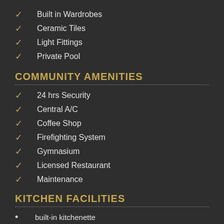Built in Wardrobes
Ceramic Tiles
Light Fittings
Private Pool
COMMUNITY AMENITIES
24 hrs Security
Central A/C
Coffee Shop
Firefighting System
Gymnasium
Licensed Restaurant
Maintenance
KITCHEN FACILITIES
built-in kitchenette